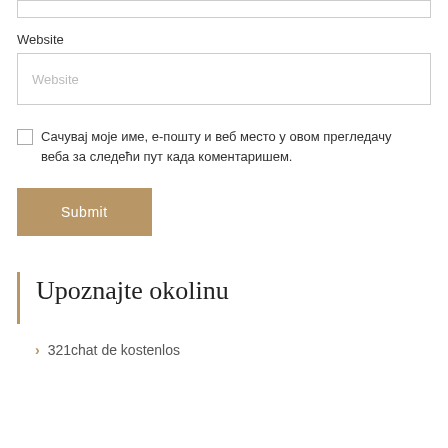Website
Website (placeholder input)
Сачувај моје име, е-пошту и веб место у овом прегледачу веба за следећи пут када коментаришем.
Submit
Upoznajte okolinu
321chat de kostenlos